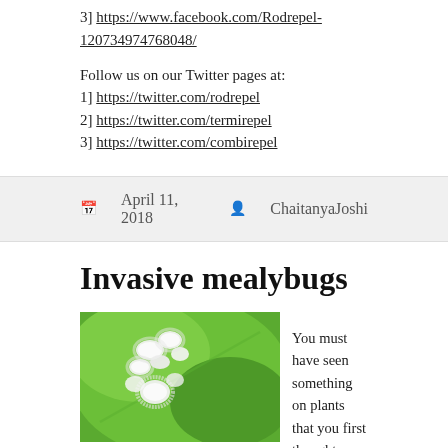3] https://www.facebook.com/Rodrepel-120734974768048/
Follow us on our Twitter pages at:
1] https://twitter.com/rodrepel
2] https://twitter.com/termirepel
3] https://twitter.com/combirepel
April 11, 2018   ChaitanyaJoshi
Invasive mealybugs
[Figure (photo): Close-up photograph of mealybugs on a green plant leaf. Several white, fluffy mealybug insects clustered on a bright green surface.]
You must have seen something on plants that you first thought was a tiny piece of cotton, but